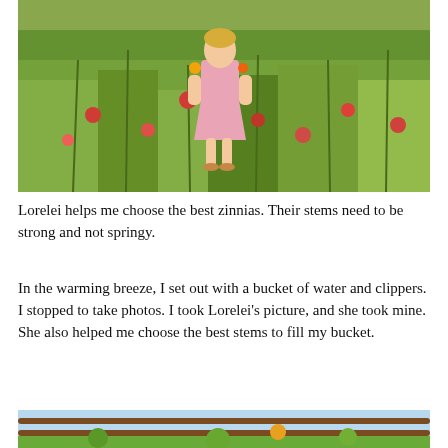[Figure (photo): Young girl in a pink dress standing in a flower garden full of zinnias and green plants, holding flowers, sunny day.]
Lorelei helps me choose the best zinnias. Their stems need to be strong and not springy.
In the warming breeze, I set out with a bucket of water and clippers. I stopped to take photos. I took Lorelei’s picture, and she took mine. She also helped me choose the best stems to fill my bucket.
[Figure (photo): Partial view of a garden scene with blue sky and green plants visible, possibly a fence or railing in the foreground.]